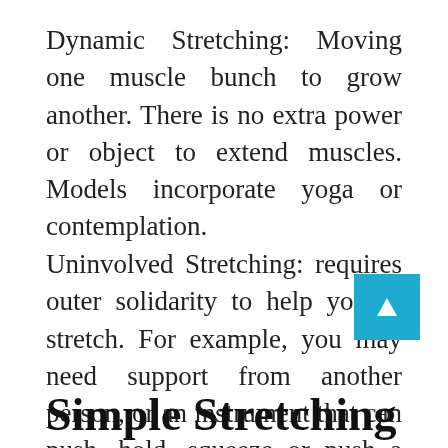Dynamic Stretching: Moving one muscle bunch to grow another. There is no extra power or object to extend muscles. Models incorporate yoga or contemplation.
Uninvolved Stretching: requires outer solidarity to help you in stretch. For example, you may need support from another person, or an instrument that can push, hold, squeeze or push a muscle.
Simple Stretching